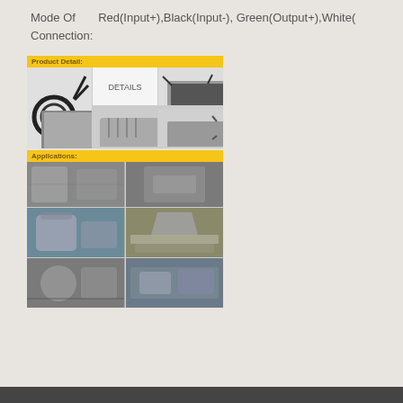Mode Of Connection: Red(Input+),Black(Input-), Green(Output+),White(Output-)
[Figure (photo): Product detail collage showing a load cell sensor with cable on left large panel, a 'DETAILS' text panel in center-top, close-up photos of sensor connectors and mounting hardware on right and bottom panels. Below that, an Applications collage showing multiple industrial installation photos of load cells in various factory/processing equipment contexts.]